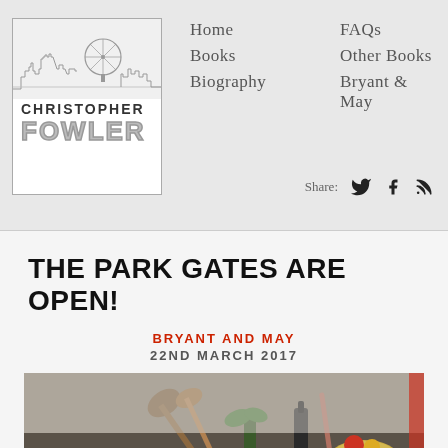[Figure (logo): Christopher Fowler logo with London skyline silhouette above bold text CHRISTOPHER FOWLER in a bordered box]
Home
FAQs
Books
Other Books
Biography
Bryant & May
Share:
THE PARK GATES ARE OPEN!
BRYANT AND MAY
22ND MARCH 2017
[Figure (photo): Photo of kitchen items including wooden spoons, a green plant, copper utensils, and a gold bowl with fruit on a dark surface]